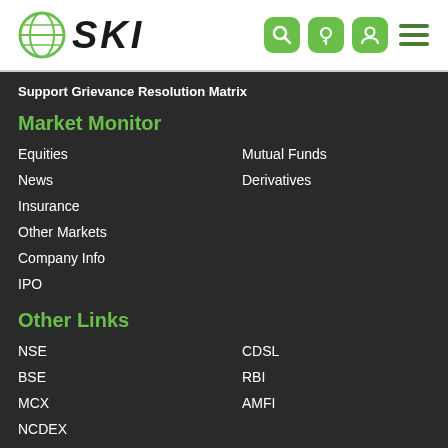SKI
Support Grievance Resolution Matrix
Market Monitor
Equities
Mutual Funds
News
Derivatives
Insurance
Other Markets
Company Info
IPO
Other Links
NSE
CDSL
BSE
RBI
MCX
AMFI
NCDEX
NSDL